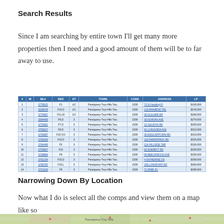Search Results
Since I am searching by entire town I'll get many more properties then I need and a good amount of them will be to far away to use.
| # | W | ML# | BED | ST | TOWN | CODE | ADDRESS | LP |
| --- | --- | --- | --- | --- | --- | --- | --- | --- |
| 1 |  | 2778015 | F1 | UC | Parsippany-Troy-Hills Two. | 2330 | 70 St Hedding Pl | $190,000 |
| 2 |  | 2028478 | F10,D | UC | Parsippany-Troy-Hills Two. | 2330 | 119 RAINBOW TRL | $243,000 |
| 3 |  | 2775367 | F11+D | UC | Parsippany-Troy-Hills Two. | 2330 | 25 GLACIER DR | $269,000 |
| 4 |  | 2594498 | F8,D | 3 | Parsippany-Troy-Hills Two. | 2330 | 30 NORVAN AVE | $279,000 |
| 5 |  | 2770061 | F7,D | 3 | Parsippany-Troy-Hills Two. | 2330 | 12 GALIFON RD | $309,000 |
| 6 |  | 2756027 | F8,D | 3 | Parsippany-Troy-Hills Two. | 2330 | 91 LONGVIEW AVE | $310,000 |
| 7 |  | 2749287 | F10,V,D | 3 | Parsippany-Troy-Hills Two. | 2330 | 35 ENGLISHTOWN RD | $319,000 |
| 8 |  | 2793423 | F10,D | 3 | Parsippany-Troy-Hills Two. | 2330 | 120 PARSIPPANY RD | $325,000 |
| 9 |  | 2764448 | F2 | 3 | Parsippany-Troy-Hills Two. | 2330 | 124 HILLSIDE TER | $326,000 |
| 10 |  | 2755657 | F12 | 3 | Parsippany-Troy-Hills Two. | 2330 | 92 EVERETT RD | $329,000 |
| 11 |  | 2726869 | F9 | 3 | Parsippany-Troy-Hills Two. | 2330 | 65 BEECHWOOD AVE | $335,000 |
| 12 |  | 2761154 | F10,D | 3 | Parsippany-Troy-Hills Two. | 2330 | 4 KATHERINE DS | $359,000 |
| 13 |  | 2790750 | F10,L | 3 | Parsippany-Troy-Hills Two. | 2330 | 195 LONGPORT RD | $369,000 |
| 14 |  | 2721242 | F9 | 3 | Parsippany-Troy-Hills Two. | 2330 | 71 PARK PL | $399,000 |
Narrowing Down By Location
Now what I do is select all the comps and view them on a map like so
[Figure (map): Map showing property locations in Parsippany-Troy Hills area]